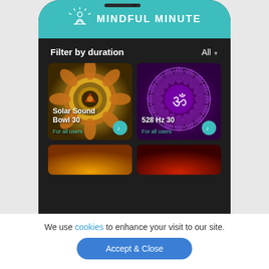[Figure (screenshot): Mobile app screenshot of Mindful Minute meditation app showing teal header with logo, filter by duration row with All dropdown, and grid of two meditation audio cards: Solar Sound Bowl 30 and 528 Hz 30, both labeled For all users, with teal music buttons, plus two partially visible cards below.]
We use cookies to enhance your visit to our site.
Accept & Close